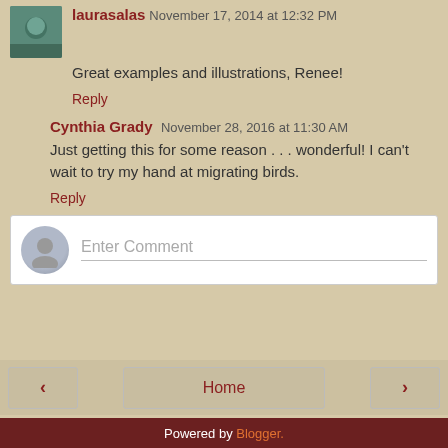laurasalas November 17, 2014 at 12:32 PM
Great examples and illustrations, Renee!
Reply
Cynthia Grady November 28, 2016 at 11:30 AM
Just getting this for some reason . . . wonderful! I can't wait to try my hand at migrating birds.
Reply
Enter Comment
Home
View web version
Powered by Blogger.